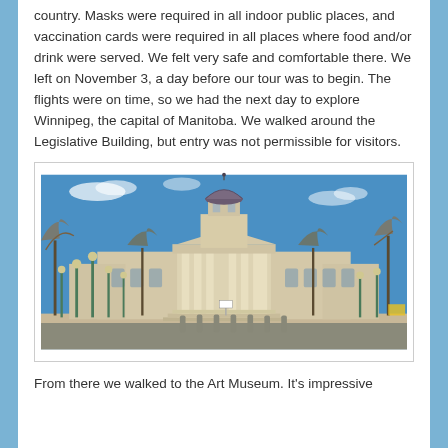country.  Masks were required in all indoor public places, and vaccination cards were required in all places where food and/or drink were served.  We felt very safe and comfortable there. We left on November 3, a day before our tour was to begin.  The flights were on time, so we had the next day to explore Winnipeg, the capital of Manitoba.  We walked around the Legislative Building, but entry was not permissible for visitors.
[Figure (photo): Photograph of the Manitoba Legislative Building in Winnipeg. A large neoclassical stone building with a central dome and columned portico. Street lamps line the foreground, bare autumn trees surround the building, and a blue sky is visible above.]
From there we walked to the Art Museum.  It's impressive